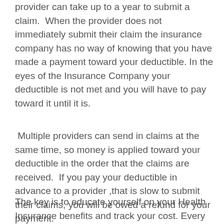provider can take up to a year to submit a claim.  When the provider does not immediately submit their claim the insurance company has no way of knowing that you have made a payment toward your deductible. In the eyes of the Insurance Company your deductible is not met and you will have to pay toward it until it is.
Multiple providers can send in claims at the same time, so money is applied toward your deductible in the order that the claims are received.  If you pay your deductible in advance to a provider ,that is slow to submit their claims, you will be owed a refund for your payment.
The key is to educate yourself on your Health Insurance benefits and track your cost. Every time you use your health insurance, your